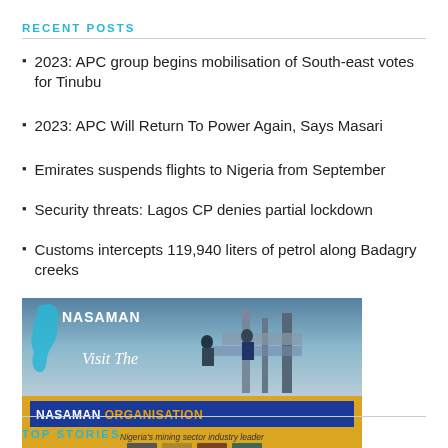RECENT POSTS
2023: APC group begins mobilisation of South-east votes for Tinubu
2023: APC Will Return To Power Again, Says Masari
Emirates suspends flights to Nigeria from September
Security threats: Lagos CP denies partial lockdown
Customs intercepts 119,940 liters of petrol along Badagry creeks
[Figure (photo): Advertisement banner for NASAMAN Organisation — Nigeria's mining sector industry leader — featuring workers on industrial scaffolding with the text 'Visit The NASAMAN ORGANISATION' and four thumbnail images at the bottom.]
TOP STORIES